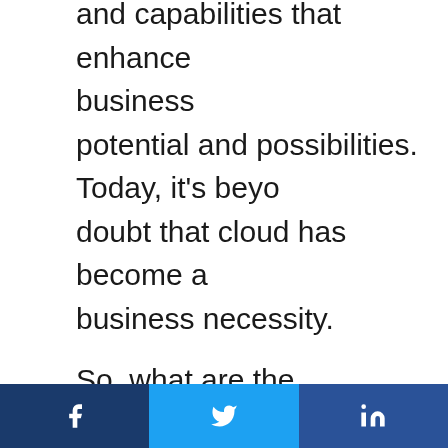and capabilities that enhance business potential and possibilities. Today, it's beyond doubt that cloud has become a business necessity.
So, what are the advantages of cloud computing?
Cloud has many advantages like cost reduction, data security, scalability, data control, data recovery and it has
Facebook | Twitter | LinkedIn